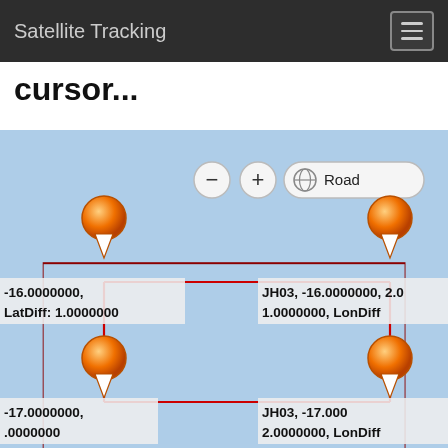Satellite Tracking
cursor...
[Figure (map): Interactive satellite tracking map showing four orange location pins connected by a red rectangle outline. Map type selector shows 'Road'. Controls for zoom in/out are visible. Four coordinate labels are shown at each pin corner: top-left '-16.0000000, LatDiff: 1.0000000', top-right 'JH03, -16.0000000, 2.0... 1.0000000, LonDiff', bottom-left '-17.0000000, .0000000', bottom-right 'JH03, -17.000 2.0000000, LonDiff'. Background is light blue representing a map view.]